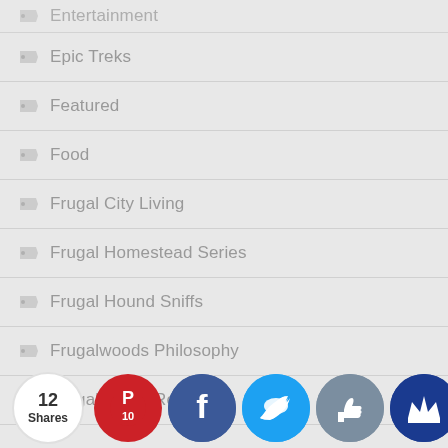Entertainment
Epic Treks
Featured
Food
Frugal City Living
Frugal Homestead Series
Frugal Hound Sniffs
Frugalwoods Philosophy
Frugalwoods Reviews
Great Tr...ds